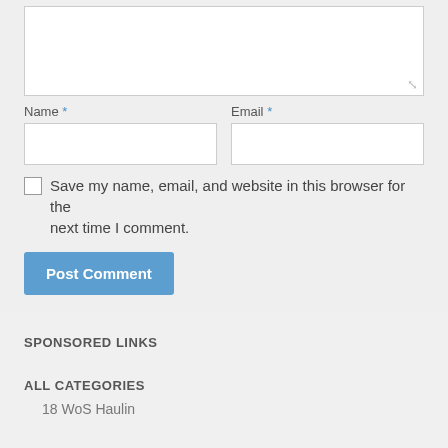[Figure (screenshot): Textarea input box (top of form, partially visible)]
Name *
[Figure (screenshot): Name text input field]
Email *
[Figure (screenshot): Email text input field]
Save my name, email, and website in this browser for the next time I comment.
[Figure (screenshot): Post Comment button]
SPONSORED LINKS
ALL CATEGORIES
18 WoS Haulin